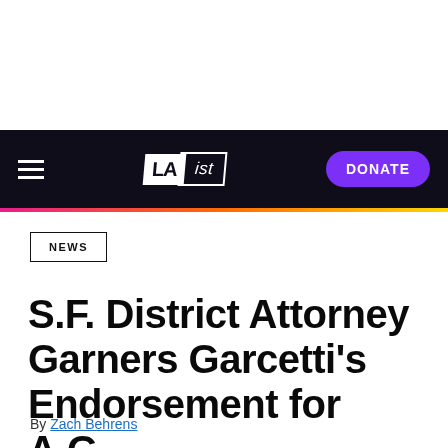LAist navigation bar with logo and DONATE button
NEWS
S.F. District Attorney Garners Garcetti's Endorsement for A.G.
By Zach Behrens